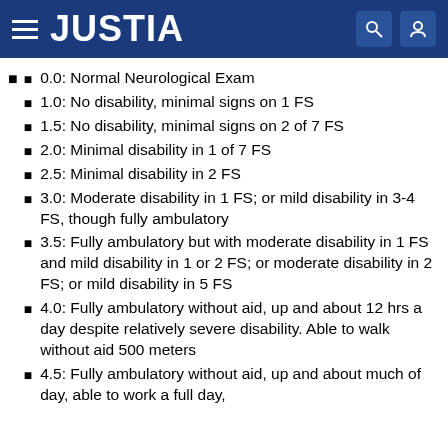JUSTIA
0.0: Normal Neurological Exam
1.0: No disability, minimal signs on 1 FS
1.5: No disability, minimal signs on 2 of 7 FS
2.0: Minimal disability in 1 of 7 FS
2.5: Minimal disability in 2 FS
3.0: Moderate disability in 1 FS; or mild disability in 3-4 FS, though fully ambulatory
3.5: Fully ambulatory but with moderate disability in 1 FS and mild disability in 1 or 2 FS; or moderate disability in 2 FS; or mild disability in 5 FS
4.0: Fully ambulatory without aid, up and about 12 hrs a day despite relatively severe disability. Able to walk without aid 500 meters
4.5: Fully ambulatory without aid, up and about much of day, able to work a full day, some limitation of full activity